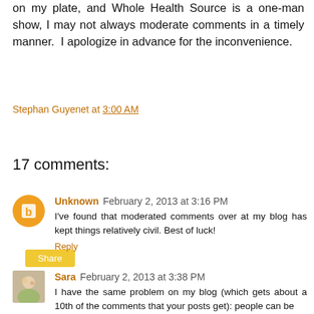on my plate, and Whole Health Source is a one-man show, I may not always moderate comments in a timely manner.  I apologize in advance for the inconvenience.
Stephan Guyenet at 3:00 AM
Share
17 comments:
Unknown February 2, 2013 at 3:16 PM
I've found that moderated comments over at my blog has kept things relatively civil. Best of luck!
Reply
Sara February 2, 2013 at 3:38 PM
I have the same problem on my blog (which gets about a 10th of the comments that your posts get): people can be